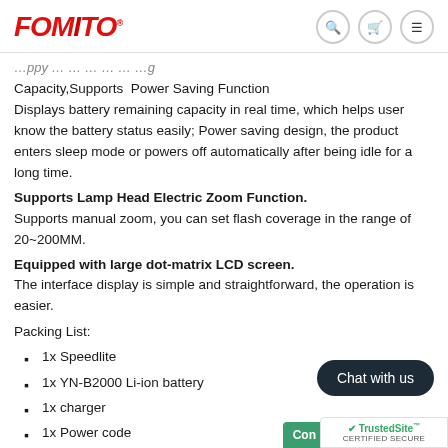FOMITO [logo with search, cart, menu icons]
Capacity,Supports  Power Saving Function
Displays battery remaining capacity in real time, which helps user know the battery status easily; Power saving design, the product enters sleep mode or powers off automatically after being idle for a long time.
Supports Lamp Head Electric Zoom Function.
Supports manual zoom, you can set flash coverage in the range of 20~200MM.
Equipped with large dot-matrix LCD screen.
The interface display is simple and straightforward, the operation is easier.
Packing List:
1x Speedlite
1x YN-B2000 Li-ion battery
1x charger
1x Power code